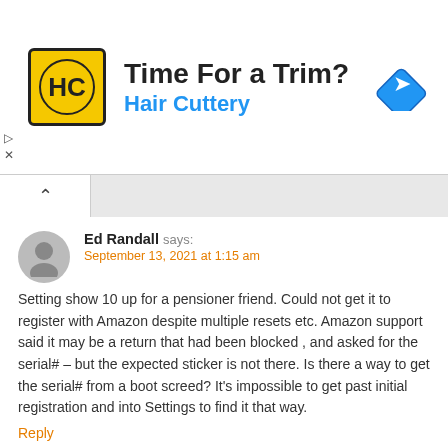[Figure (logo): Hair Cuttery advertisement banner with HC logo, 'Time For a Trim?' headline, 'Hair Cuttery' subtext in blue, and a blue navigation arrow icon on the right]
Ed Randall says:
September 13, 2021 at 1:15 am

Setting show 10 up for a pensioner friend. Could not get it to register with Amazon despite multiple resets etc. Amazon support said it may be a return that had been blocked , and asked for the serial# – but the expected sticker is not there. Is there a way to get the serial# from a boot screed? It's impossible to get past initial registration and into Settings to find it that way.
Reply
Jamie wickett says:
November 20, 2021 at 7:12 am

Very helpful thanks